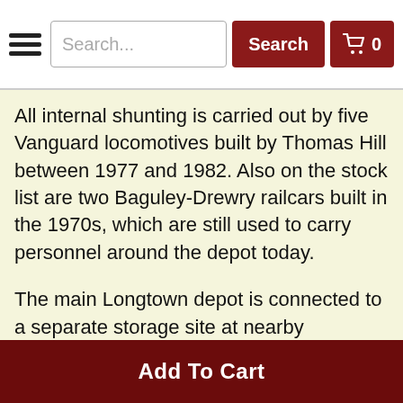Search... Search 🛒 0
All internal shunting is carried out by five Vanguard locomotives built by Thomas Hill between 1977 and 1982. Also on the stock list are two Baguley-Drewry railcars built in the 1970s, which are still used to carry personnel around the depot today.
The main Longtown depot is connected to a separate storage site at nearby Smalmstown, by means of a short link over British Rail metals. This involves tracing part of a spur that once linked the Waverley route with the West Coast main line at Gretna and which closed to through traffic in 1969.
Add To Cart